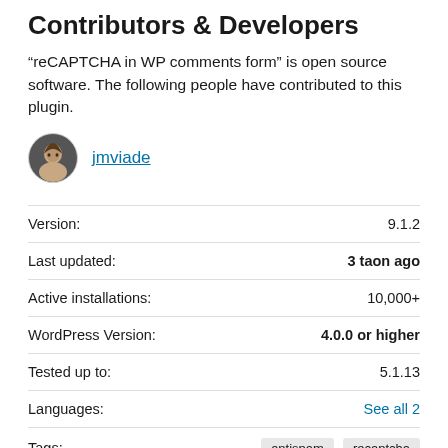Contributors & Developers
"reCAPTCHA in WP comments form" is open source software. The following people have contributed to this plugin.
jmviade
|  |  |
| --- | --- |
| Version: | 9.1.2 |
| Last updated: | 3 taon ago |
| Active installations: | 10,000+ |
| WordPress Version: | 4.0.0 or higher |
| Tested up to: | 5.1.13 |
| Languages: | See all 2 |
| Tags: | antispam   recaptcha |